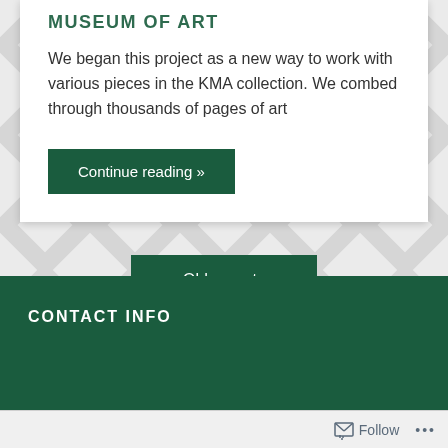MUSEUM OF ART
We began this project as a new way to work with various pieces in the KMA collection. We combed through thousands of pages of art
Continue reading »
Older posts
CONTACT INFO
Follow ...